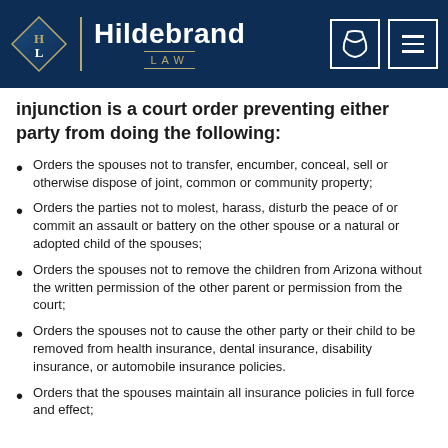Hildebrand LAW
injunction is a court order preventing either party from doing the following:
Orders the spouses not to transfer, encumber, conceal, sell or otherwise dispose of joint, common or community property;
Orders the parties not to molest, harass, disturb the peace of or commit an assault or battery on the other spouse or a natural or adopted child of the spouses;
Orders the spouses not to remove the children from Arizona without the written permission of the other parent or permission from the court;
Orders the spouses not to cause the other party or their child to be removed from health insurance, dental insurance, disability insurance, or automobile insurance policies.
Orders that the spouses maintain all insurance policies in full force and effect;